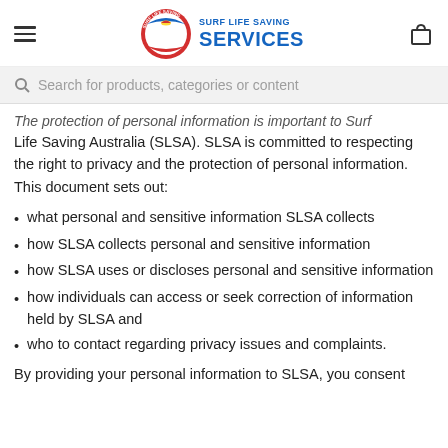SURF LIFE SAVING SERVICES
Search for products, categories or content
The protection of personal information is important to Surf Life Saving Australia (SLSA). SLSA is committed to respecting the right to privacy and the protection of personal information. This document sets out:
what personal and sensitive information SLSA collects
how SLSA collects personal and sensitive information
how SLSA uses or discloses personal and sensitive information
how individuals can access or seek correction of information held by SLSA and
who to contact regarding privacy issues and complaints.
By providing your personal information to SLSA, you consent